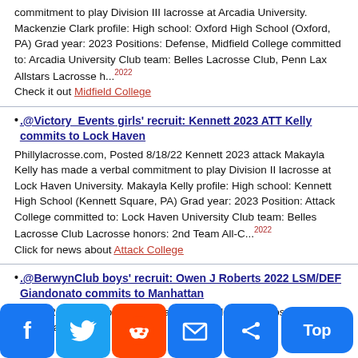commitment to play Division III lacrosse at Arcadia University. Mackenzie Clark profile: High school: Oxford High School (Oxford, PA) Grad year: 2023 Positions: Defense, Midfield College committed to: Arcadia University Club team: Belles Lacrosse Club, Penn Lax Allstars Lacrosse h...2022
Check it out Midfield College
.@Victory_Events girls' recruit: Kennett 2023 ATT Kelly commits to Lock Haven
Phillylacrosse.com, Posted 8/18/22 Kennett 2023 attack Makayla Kelly has made a verbal commitment to play Division II lacrosse at Lock Haven University. Makayla Kelly profile: High school: Kennett High School (Kennett Square, PA) Grad year: 2023 Position: Attack College committed to: Lock Haven University Club team: Belles Lacrosse Club Lacrosse honors: 2nd Team All-C...2022
Click for news about Attack College
.@BerwynClub boys' recruit: Owen J Roberts 2022 LSM/DEF Giandonato commits to Manhattan
l 8/17/22 Owen J Roberts andonato has made a n I lacrosse at Manhattan